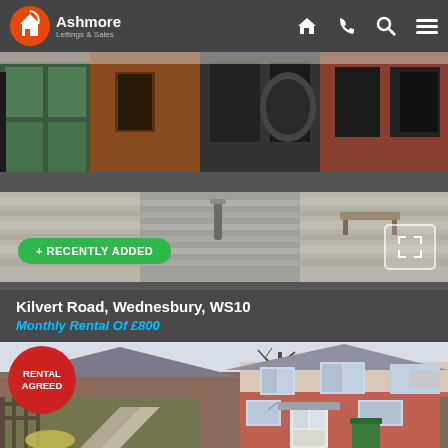[Figure (logo): Ashmore Lettings & Sales logo with orange house icon]
[Figure (photo): Street-level photo of commercial brick buildings with paved pedestrian area]
+ RECENTLY ADDED
Kilvert Road, Wednesbury, WS10
Monthly Rental Of £800
[Figure (photo): Semi-detached residential house with garden path and red brick exterior]
RENTAL AGREED